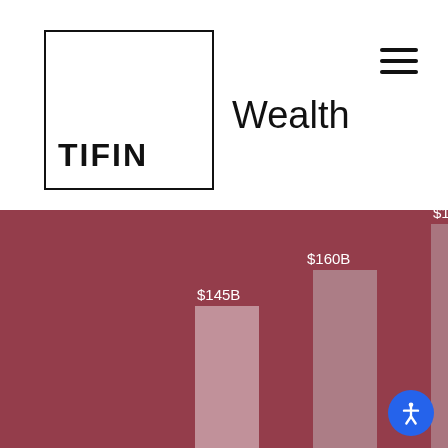[Figure (logo): TIFIN Wealth logo — square border with TIFIN text, followed by Wealth wordmark]
[Figure (bar-chart): Wealth management market size]